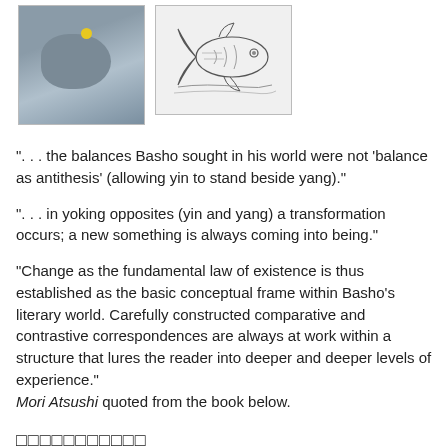[Figure (photo): Photo of a small grey animal (likely a cat or rabbit) with a yellow dot/tag, against a grey background]
[Figure (illustration): Black and white ink illustration of a fish or sea creature in motion]
". . . the balances Basho sought in his world were not 'balance as antithesis' (allowing yin to stand beside yang)."
". . . in yoking opposites (yin and yang) a transformation occurs; a new something is always coming into being."
"Change as the fundamental law of existence is thus established as the basic conceptual frame within Basho's literary world. Carefully constructed comparative and contrastive correspondences are always at work within a structure that lures the reader into deeper and deeper levels of experience."
Mori Atsushi quoted from the book below.
□□□□□□□□□□□
...